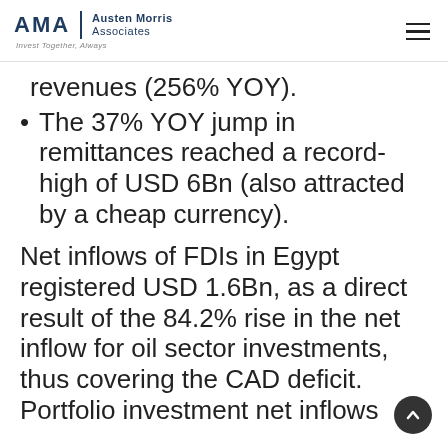AMA | Austen Morris Associates — Invest Together, Always
revenues (256% YOY).
The 37% YOY jump in remittances reached a record-high of USD 6Bn (also attracted by a cheap currency).
Net inflows of FDIs in Egypt registered USD 1.6Bn, as a direct result of the 84.2% rise in the net inflow for oil sector investments, thus covering the CAD deficit. Portfolio investment net inflows